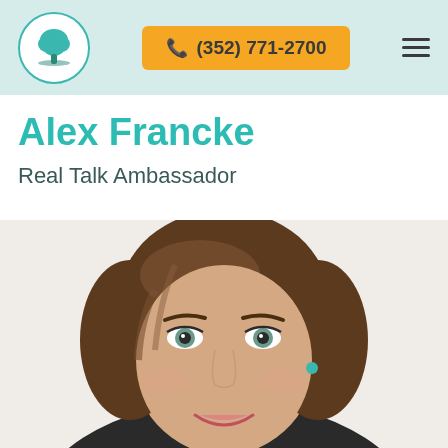(352) 771-2700
Alex Francke
Real Talk Ambassador
[Figure (photo): Close-up portrait photo of a smiling woman with long brown hair, light eyes, and small teal earrings, wearing dark clothing, photographed against a white background.]